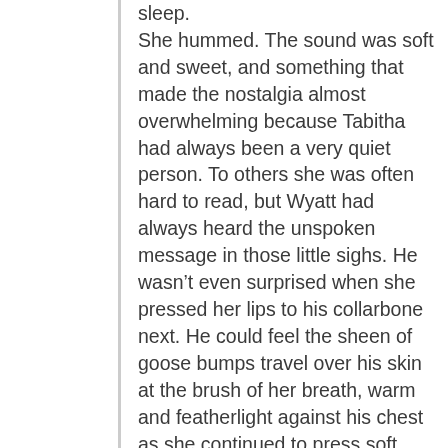sleep.
She hummed. The sound was soft and sweet, and something that made the nostalgia almost overwhelming because Tabitha had always been a very quiet person. To others she was often hard to read, but Wyatt had always heard the unspoken message in those little sighs. He wasn't even surprised when she pressed her lips to his collarbone next. He could feel the sheen of goose bumps travel over his skin at the brush of her breath, warm and featherlight against his chest as she continued to press soft, loving kisses against it. Her hand ran over his abdominal muscles and down to his waist as she shifted over him, giving herself better access to his body.
He watched her, entranced as her eyes drifted close as if she were savoring touching him as much as he enjoyed letting her. Her hand slid down to his ass, cupping it as another soft sigh of indulgence slipped past her lips.
“I missed you, Wy.” The confession was barely